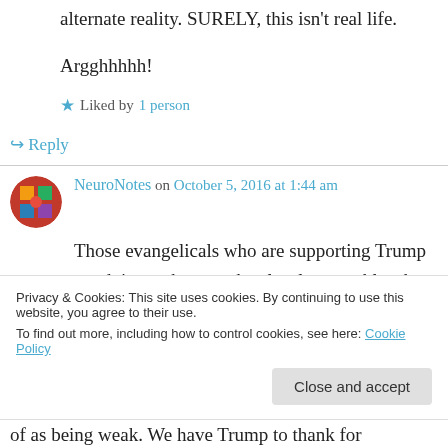alternate reality. SURELY, this isn't real life.

Argghhhhh!
★ Liked by 1 person
↳ Reply
NeuroNotes on October 5, 2016 at 1:44 am
Those evangelicals who are supporting Trump are doing so because he closely resembles the god they are loyal too, Yahweh.
Privacy & Cookies: This site uses cookies. By continuing to use this website, you agree to their use.
To find out more, including how to control cookies, see here: Cookie Policy
of as being weak. We have Trump to thank for